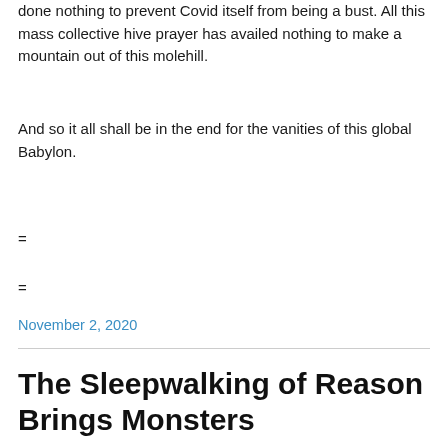done nothing to prevent Covid itself from being a bust. All this mass collective hive prayer has availed nothing to make a mountain out of this molehill.
And so it all shall be in the end for the vanities of this global Babylon.
=
=
November 2, 2020
The Sleepwalking of Reason Brings Monsters